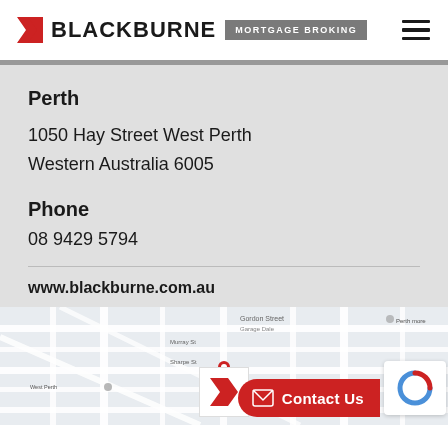BLACKBURNE MORTGAGE BROKING
Perth
1050 Hay Street West Perth
Western Australia 6005
Phone
08 9429 5794
www.blackburne.com.au
[Figure (map): Google Maps street map showing West Perth area around 1050 Hay Street West Perth, Western Australia 6005]